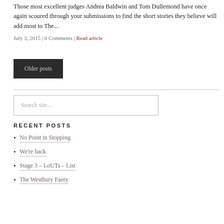Those most excellent judges Andrea Baldwin and Tom Dullemond have once again scoured through your submissions to find the short stories they believe will add most to The...
July 3, 2015 | 0 Comments | Read article
Older posts
Search site...
RECENT POSTS
No Point in Stopping
We're back
Stage 3 – LoUTs – List
The Westbury Faery